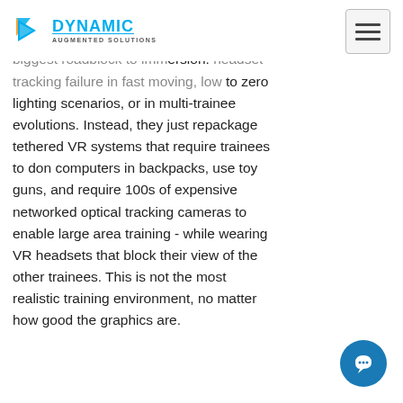DYNAMIC AUGMENTED SOLUTIONS
Unfortunately, the established players in simulation do not have an answer to MR's biggest roadblock to immersion: headset tracking failure in fast moving, low to zero lighting scenarios, or in multi-trainee evolutions. Instead, they just repackage tethered VR systems that require trainees to don computers in backpacks, use toy guns, and require 100s of expensive networked optical tracking cameras to enable large area training - while wearing VR headsets that block their view of the other trainees. This is not the most realistic training environment, no matter how good the graphics are.